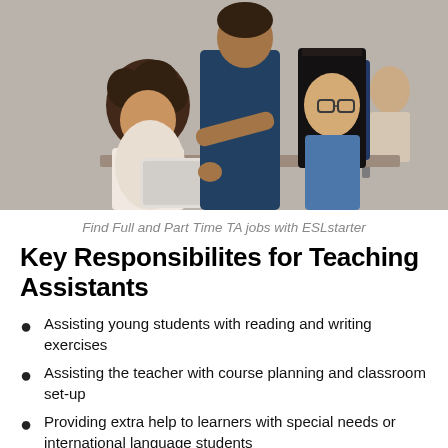[Figure (photo): Teacher leaning over two students at a desk, one with curly hair looking at a tablet, and one with long straight hair and glasses, in a classroom setting.]
Find Full and Part Time TA jobs with ESLstarter
Key Responsibilites for Teaching Assistants
Assisting young students with reading and writing exercises
Assisting the teacher with course planning and classroom set-up
Providing extra help to learners with special needs or international language students